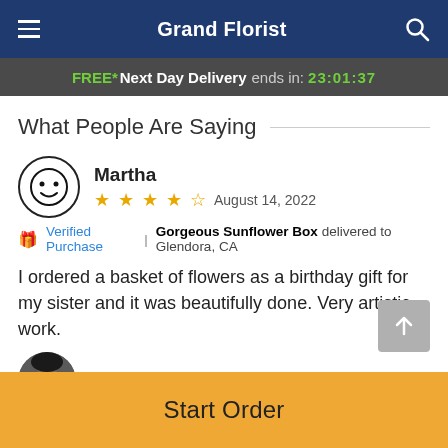Grand Florist
FREE* Next Day Delivery ends in: 23:01:37
What People Are Saying
Martha
★★★★☆  August 14, 2022
🎁 Verified Purchase  |  Gorgeous Sunflower Box delivered to Glendora, CA
I ordered a basket of flowers as a birthday gift for my sister and it was beautifully done. Very artistic work.
sergio ramirez (Checo)
Start Order